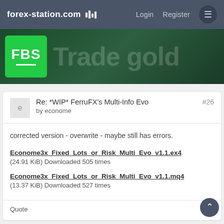forex-station.com  Login  Register
[Figure (illustration): FBS broker advertisement banner - green FBS logo box on dark green background with 'Trade gold' text]
Re: *WIP* FerruFX's Multi-Info Evo  #26
by econome
corrected version - overwrite - maybe still has errors.
Econome3x_Fixed_Lots_or_Risk_Multi_Evo_v1.1.ex4
(24.91 KiB) Downloaded 505 times
Econome3x_Fixed_Lots_or_Risk_Multi_Evo_v1.1.mq4
(13.37 KiB) Downloaded 527 times
Quote